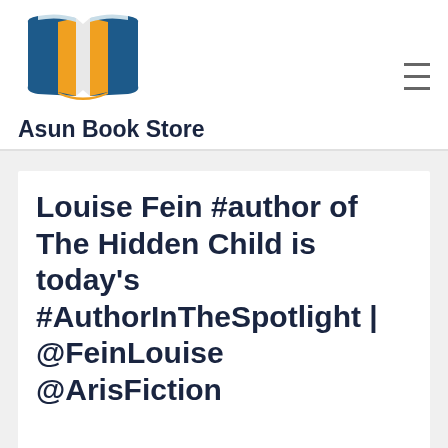[Figure (logo): Open book logo with orange pages/spine and dark blue covers]
Asun Book Store
Louise Fein #author of The Hidden Child is today's #AuthorInTheSpotlight | @FeinLouise @ArisFiction